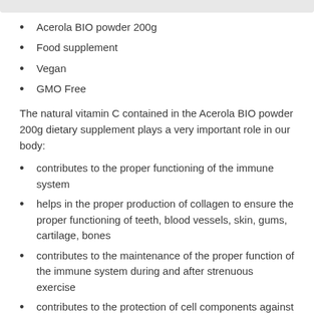Acerola BIO powder 200g
Food supplement
Vegan
GMO Free
The natural vitamin C contained in the Acerola BIO powder 200g dietary supplement plays a very important role in our body:
contributes to the proper functioning of the immune system
helps in the proper production of collagen to ensure the proper functioning of teeth, blood vessels, skin, gums, cartilage, bones
contributes to the maintenance of the proper function of the immune system during and after strenuous exercise
contributes to the protection of cell components against oxidative damage